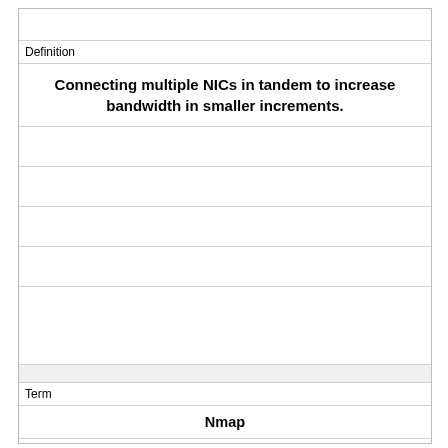|  |
| Definition |
| Connecting multiple NICs in tandem to increase bandwidth in smaller increments. |
|  |
|  |
|  |
|  |
|  |
|  |
| Term |
| Nmap |
|  |
|  |
|  |
|  |